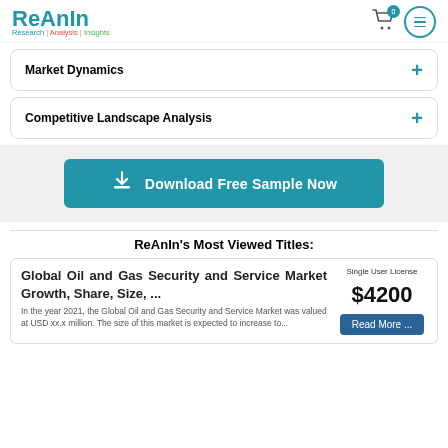ReAnIn Research | Analysis | Insights
Market Dynamics
Competitive Landscape Analysis
Download Free Sample Now
ReAnIn's Most Viewed Titles:
Global Oil and Gas Security and Service Market Growth, Share, Size, ...
Single User License
$4200
In the year 2021, the Global Oil and Gas Security and Service Market was valued at USD xx.x million. The size of this market is expected to increase to...
Read More ...